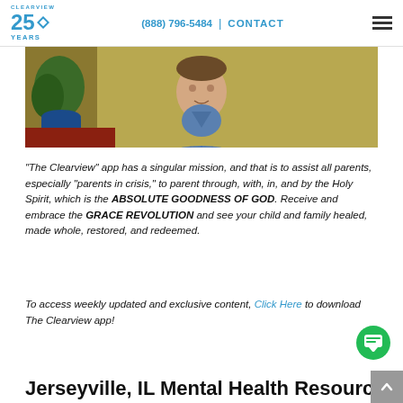CLEARVIEW 25 YEARS | (888) 796-5484 | CONTACT
[Figure (photo): Photo of a man in a blue plaid shirt seated indoors with a plant in the background]
"The Clearview" app has a singular mission, and that is to assist all parents, especially "parents in crisis," to parent through, with, in, and by the Holy Spirit, which is the ABSOLUTE GOODNESS OF GOD. Receive and embrace the GRACE REVOLUTION and see your child and family healed, made whole, restored, and redeemed.
To access weekly updated and exclusive content, Click Here to download The Clearview app!
Jerseyville, IL Mental Health Resources